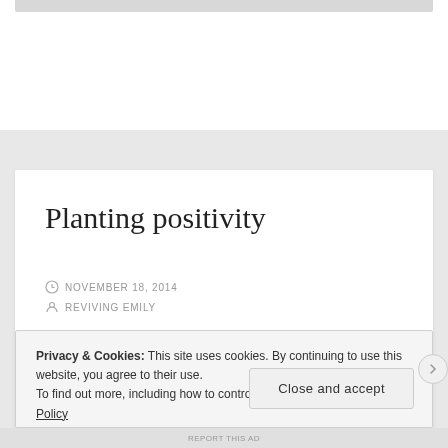Planting positivity
NOVEMBER 18, 2014
REVIVING EMILY
Privacy & Cookies: This site uses cookies. By continuing to use this website, you agree to their use.
To find out more, including how to control cookies, see here: Cookie Policy
Close and accept
REPORT THIS AD